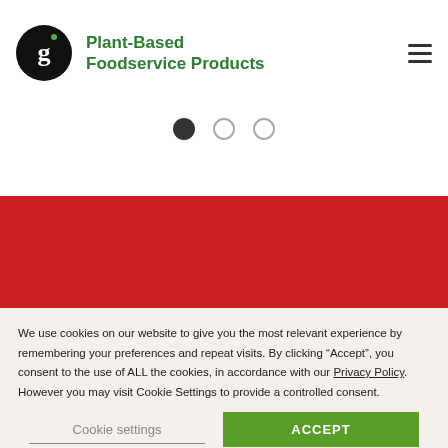[Figure (logo): Black circle logo with white letter g and small green dot, followed by green bold text reading Plant-Based Foodservice Products, with hamburger menu icon on the right]
[Figure (other): Carousel pagination dots: one filled black dot and two empty circles]
[Figure (other): Solid red/crimson banner strip]
We use cookies on our website to give you the most relevant experience by remembering your preferences and repeat visits. By clicking “Accept”, you consent to the use of ALL the cookies, in accordance with our Privacy Policy. However you may visit Cookie Settings to provide a controlled consent.
Cookie settings
ACCEPT